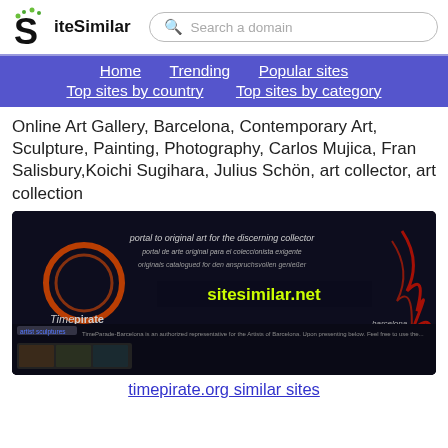SiteSimilar — Search a domain
Home  Trending  Popular sites  Top sites by country  Top sites by category
Online Art Gallery, Barcelona, Contemporary Art, Sculpture, Painting, Photography, Carlos Mujica, Fran Salisbury,Koichi Sugihara, Julius Schön, art collector, art collection
[Figure (screenshot): Screenshot of timepirate.org website showing a dark-themed online art gallery portal with orange circle logo, multilingual text, and sculpture images]
timepirate.org similar sites